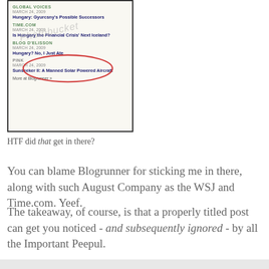[Figure (screenshot): Screenshot of a Blogrunner news aggregator widget showing blog sources: Global Voices (Hungary: Gyurcsny's Possible Successors), Time.com (Is Hungary the Financial Crisis' Next Iceland?), Blog D'Elisson (Hungary? No, I Just Ate) circled in red, and PINK (Sunseeker II: A Manned Solar Powered Aircraft). Includes Photobucket watermark. 'More at Blogrunner »' link at bottom.]
HTF did that get in there?
You can blame Blogrunner for sticking me in there, along with such August Company as the WSJ and Time.com. Yeef.
The takeaway, of course, is that a properly titled post can get you noticed - and subsequently ignored - by all the Important Peepul.